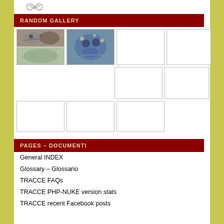[Figure (logo): Decorative swirl logo at top]
RANDOM GALLERY
[Figure (photo): Gallery grid showing 9 image thumbnails arranged in rows. First two cells contain photos of rock art/engravings (owl-like carvings and blue-toned rock surface). Remaining 7 cells are empty white boxes with gray borders.]
PAGES – DOCUMENTI
General INDEX
Glossary – Glossario
TRACCE FAQs
TRACCE PHP-NUKE version stats
TRACCE recent Facebook posts